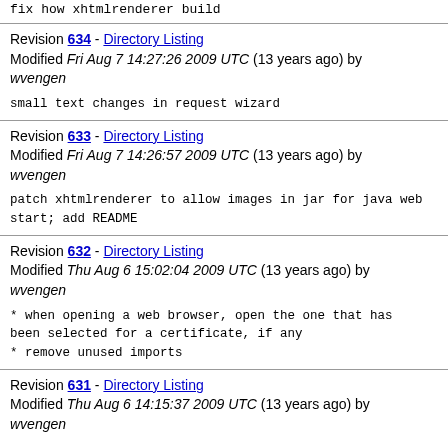fix how xhtmlrenderer build
Revision 634 - Directory Listing
Modified Fri Aug 7 14:27:26 2009 UTC (13 years ago) by wvengen
small text changes in request wizard
Revision 633 - Directory Listing
Modified Fri Aug 7 14:26:57 2009 UTC (13 years ago) by wvengen
patch xhtmlrenderer to allow images in jar for java web start; add README
Revision 632 - Directory Listing
Modified Thu Aug 6 15:02:04 2009 UTC (13 years ago) by wvengen
* when opening a web browser, open the one that has been selected for a certificate, if any
* remove unused imports
Revision 631 - Directory Listing
Modified Thu Aug 6 14:15:37 2009 UTC (13 years ago) by wvengen